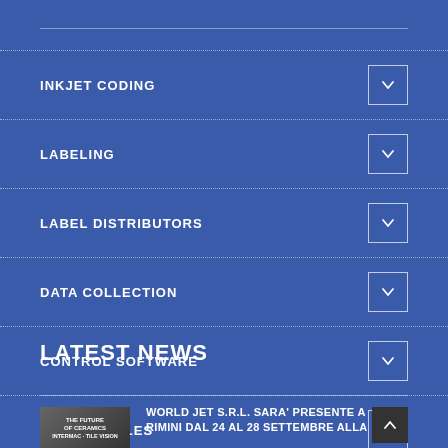INKJET CODING
LABELING
LABEL DISTRIBUTORS
DATA COLLECTION
CONTROL SOFTWARE
CONSUMABLES
LATEST NEWS
WORLD JET S.R.L. SARA' PRESENTE A RIMINI DAL 24 AL 28 SETTEMBRE ALLA